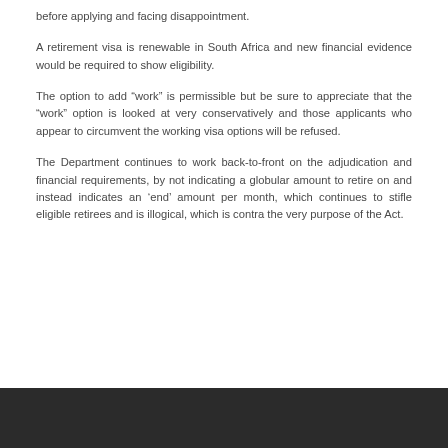before applying and facing disappointment.
A retirement visa is renewable in South Africa and new financial evidence would be required to show eligibility.
The option to add “work” is permissible but be sure to appreciate that the “work” option is looked at very conservatively and those applicants who appear to circumvent the working visa options will be refused.
The Department continues to work back-to-front on the adjudication and financial requirements, by not indicating a globular amount to retire on and instead indicates an ‘end’ amount per month, which continues to stifle eligible retirees and is illogical, which is contra the very purpose of the Act.